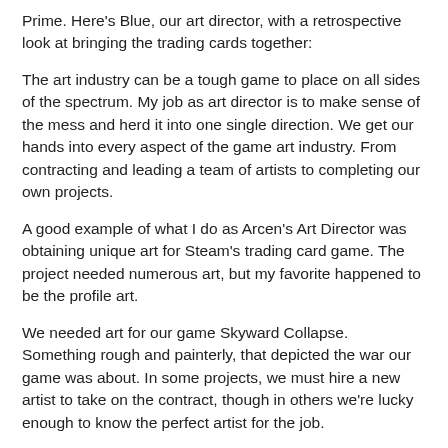Prime. Here's Blue, our art director, with a retrospective look at bringing the trading cards together:
The art industry can be a tough game to place on all sides of the spectrum. My job as art director is to make sense of the mess and herd it into one single direction. We get our hands into every aspect of the game art industry. From contracting and leading a team of artists to completing our own projects.
A good example of what I do as Arcen's Art Director was obtaining unique art for Steam's trading card game. The project needed numerous art, but my favorite happened to be the profile art.
We needed art for our game Skyward Collapse. Something rough and painterly, that depicted the war our game was about. In some projects, we must hire a new artist to take on the contract, though in others we're lucky enough to know the perfect artist for the job.
I'd worked with Todor in the past, so we knew he was perfect for the job with his rough painterly style.